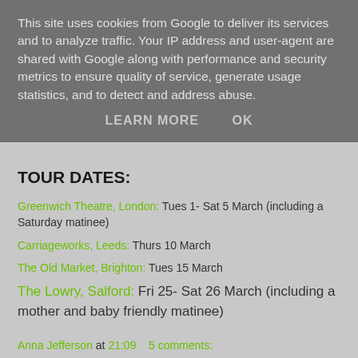This site uses cookies from Google to deliver its services and to analyze traffic. Your IP address and user-agent are shared with Google along with performance and security metrics to ensure quality of service, generate usage statistics, and to detect and address abuse.
LEARN MORE   OK
TOUR DATES:
Greenwich Theatre, London: Tues 1- Sat 5 March (including a Saturday matinee)
Carriageworks, Leeds: Thurs 10 March
The Old Market, Brighton: Tues 15 March
The Lowry, Salford: Fri 25- Sat 26 March (including a mother and baby friendly matinee)
Anna Jefferson at 21:09   5 comments: